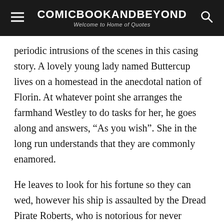COMICBOOKANDBEYOND
Welcome to Home of Quotes
periodic intrusions of the scenes in this casing story. A lovely young lady named Buttercup lives on a homestead in the anecdotal nation of Florin. At whatever point she arranges the farmhand Westley to do tasks for her, he goes along and answers, “As you wish”. She in the long run understands that they are commonly enamored.
He leaves to look for his fortune so they can wed, however his ship is assaulted by the Dread Pirate Roberts, who is notorious for never leaving survivors, and Westley is accepted to be dead.